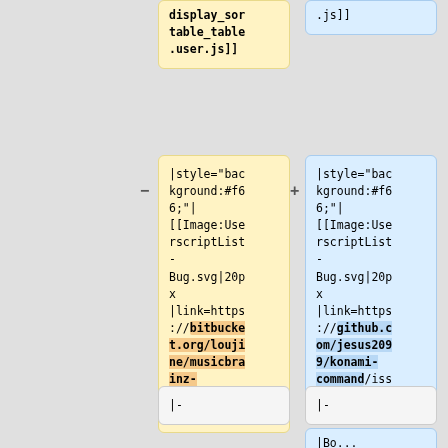display_sortable_table.user.js]]
.js]]
|style="background:#f66;"| [[Image:UserscriptList-Bug.svg|20px|link=https://bitbucket.org/loujine/musicbrainz-scripts/issues]]
|style="background:#f66;"| [[Image:UserscriptList-Bug.svg|20px|link=https://github.com/jesus2099/konami-command/issues]]
|-
|-